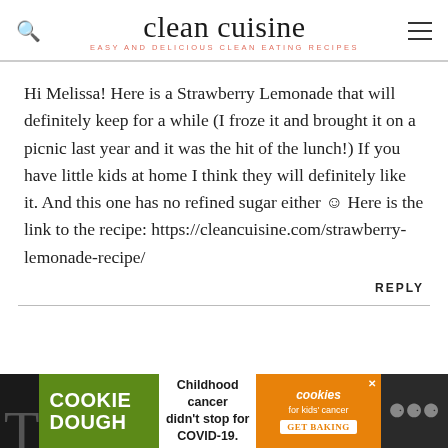clean cuisine — EASY AND DELICIOUS CLEAN EATING RECIPES
Hi Melissa! Here is a Strawberry Lemonade that will definitely keep for a while (I froze it and brought it on a picnic last year and it was the hit of the lunch!) If you have little kids at home I think they will definitely like it. And this one has no refined sugar either ☺ Here is the link to the recipe: https://cleancuisine.com/strawberry-lemonade-recipe/
REPLY
[Figure (screenshot): Advertisement banner: Cookie Dough, Childhood cancer didn't stop for COVID-19, Cookies for Kids' Cancer GET BAKING]